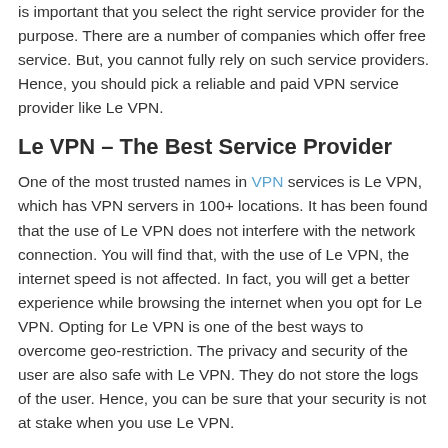is important that you select the right service provider for the purpose. There are a number of companies which offer free service. But, you cannot fully rely on such service providers. Hence, you should pick a reliable and paid VPN service provider like Le VPN.
Le VPN – The Best Service Provider
One of the most trusted names in VPN services is Le VPN, which has VPN servers in 100+ locations. It has been found that the use of Le VPN does not interfere with the network connection. You will find that, with the use of Le VPN, the internet speed is not affected. In fact, you will get a better experience while browsing the internet when you opt for Le VPN. Opting for Le VPN is one of the best ways to overcome geo-restriction. The privacy and security of the user are also safe with Le VPN. They do not store the logs of the user. Hence, you can be sure that your security is not at stake when you use Le VPN.